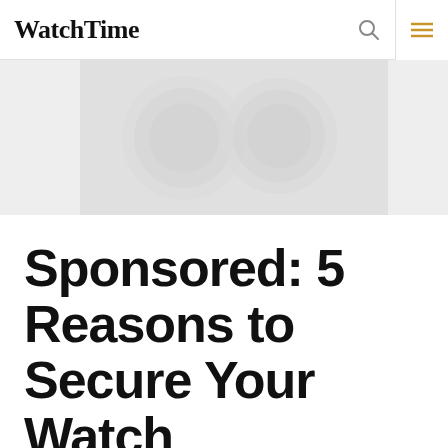WatchTime
[Figure (photo): Blurred/faded image of watch faces on a light gray background]
Sponsored: 5 Reasons to Secure Your Watch Collection with HODINKEE